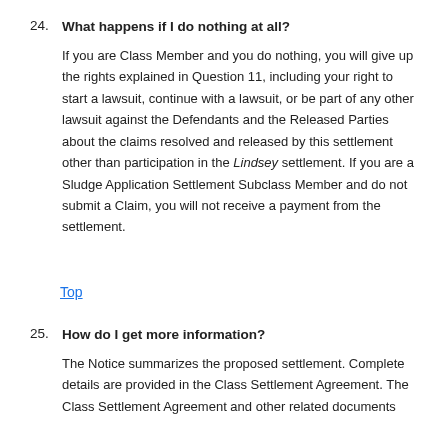24. What happens if I do nothing at all?
If you are Class Member and you do nothing, you will give up the rights explained in Question 11, including your right to start a lawsuit, continue with a lawsuit, or be part of any other lawsuit against the Defendants and the Released Parties about the claims resolved and released by this settlement other than participation in the Lindsey settlement. If you are a Sludge Application Settlement Subclass Member and do not submit a Claim, you will not receive a payment from the settlement.
Top
25. How do I get more information?
The Notice summarizes the proposed settlement. Complete details are provided in the Class Settlement Agreement. The Class Settlement Agreement and other related documents are available on the Class Representative's website is this and is